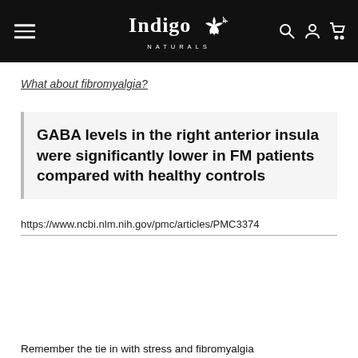Indigo Naturals
What about fibromyalgia?
GABA levels in the right anterior insula were significantly lower in FM patients compared with healthy controls
https://www.ncbi.nlm.nih.gov/pmc/articles/PMC3374...
Remember the tie in with stress and fibromyalgia